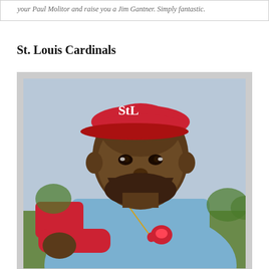your Paul Molitor and raise you a Jim Gantner. Simply fantastic.
St. Louis Cardinals
[Figure (photo): A St. Louis Cardinals baseball player wearing a light blue Cardinals uniform with red accents and the classic red Cardinals cap with the StL logo. The player is a Black man with a beard, smiling and leaning forward toward the camera. He is wearing a gold chain necklace with a Cardinals bird pendant. The background shows a sky and greenery.]